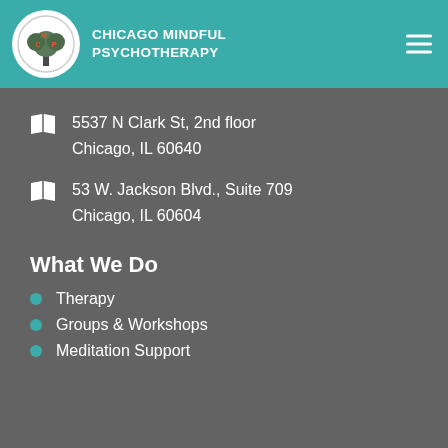Chicago Mindful Psychotherapy
5537 N Clark St, 2nd floor
Chicago, IL 60640
53 W. Jackson Blvd., Suite 709
Chicago, IL 60604
What We Do
Therapy
Groups & Workshops
Meditation Support